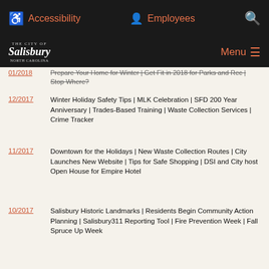Accessibility | Employees | Search | Menu — City of Salisbury, NC
01/2018 — Prepare Your Home for Winter | Get Fit in 2018 for Parks and Rec | Stop Where?
12/2017 — Winter Holiday Safety Tips | MLK Celebration | SFD 200 Year Anniversary | Trades-Based Training | Waste Collection Services | Crime Tracker
11/2017 — Downtown for the Holidays | New Waste Collection Routes | City Launches New Website | Tips for Safe Shopping | DSI and City host Open House for Empire Hotel
10/2017 — Salisbury Historic Landmarks | Residents Begin Community Action Planning | Salisbury311 Reporting Tool | Fire Prevention Week | Fall Spruce Up Week
09/2017 — BLOCKWORK | Salisbury's Kids are G.R.E.A.T. | La Fiesta de Rowan | Summer Sip Beer Festival | #PositiveGossip
08/2017 — SPD Provides Expanded Foot Patrols | Summer Youth Employment | School Tools Donations | Summer Sip Tasting Tour | #PositiveGossip
07/2017 — City Approves FY18 Budget | New Columbaria | City versus County Responsibilities | New Recycling Company | Receive City Text Alerts
06/2017 — SRU is Getting Smarter | The City Flag Flies High | Youth Protection & Curfew | Spotlight on Summer Camps | Movies in the Park | A Word from the Mayor